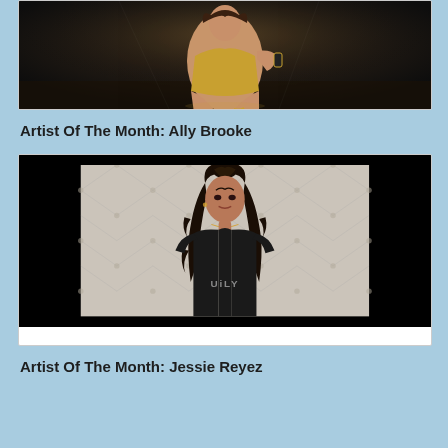[Figure (photo): Photo of a woman posing seated on a dark reflective surface wearing gold accessories and heels, cropped at top]
Artist Of The Month: Ally Brooke
[Figure (photo): Photo of a young woman with long dark curly hair in a top bun, wearing a black t-shirt that says 'UGLY', photographed against a white tufted background]
Artist Of The Month: Jessie Reyez